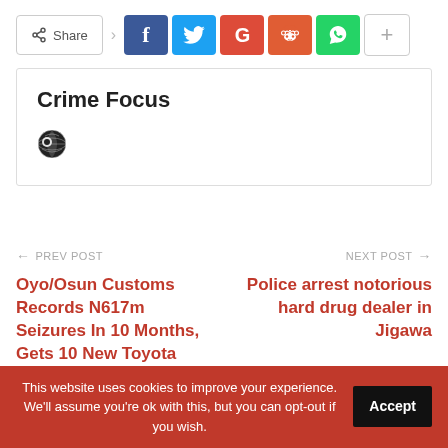[Figure (screenshot): Social share bar with Share button, Facebook, Twitter, Google+, Reddit, WhatsApp, and more (+) buttons]
Crime Focus
[Figure (logo): Globe/world icon]
← PREV POST
Oyo/Osun Customs Records N617m Seizures In 10 Months, Gets 10 New Toyota Hilux Vehicles
NEXT POST →
Police arrest notorious hard drug dealer in Jigawa
This website uses cookies to improve your experience. We'll assume you're ok with this, but you can opt-out if you wish.  Accept